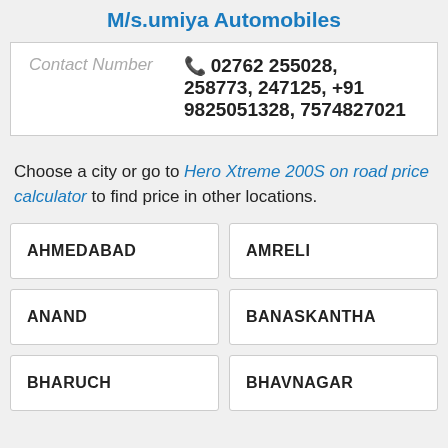M/s.umiya Automobiles
Contact Number  02762 255028, 258773, 247125, +91 9825051328, 7574827021
Choose a city or go to Hero Xtreme 200S on road price calculator to find price in other locations.
AHMEDABAD
AMRELI
ANAND
BANASKANTHA
BHARUCH
BHAVNAGAR